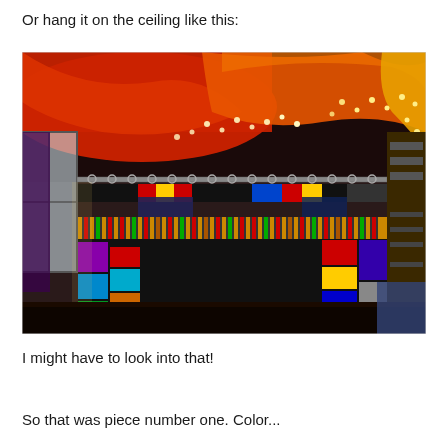Or hang it on the ceiling like this:
[Figure (photo): Interior room photo showing colorful fabric draped across the ceiling in red, orange, and yellow hues with string lights woven through. Below are hanging curtains made from patchwork panels of black, red, yellow, blue, green, teal, and other colors on a curtain rod. A window is visible on the left, and a wooden ladder/shelf unit is visible on the right.]
I might have to look into that!
So that was piece number one. Color...